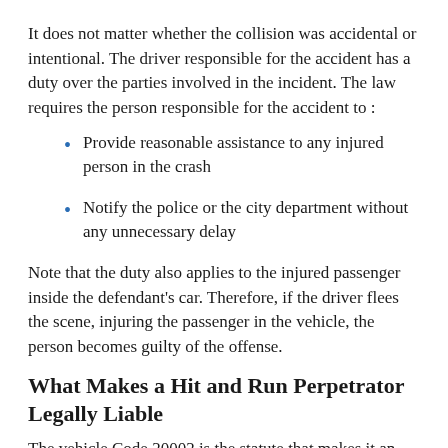It does not matter whether the collision was accidental or intentional. The driver responsible for the accident has a duty over the parties involved in the incident. The law requires the person responsible for the accident to :
Provide reasonable assistance to any injured person in the crash
Notify the police or the city department without any unnecessary delay
Note that the duty also applies to the injured passenger inside the defendant's car. Therefore, if the driver flees the scene, injuring the passenger in the vehicle, the person becomes guilty of the offense.
What Makes a Hit and Run Perpetrator Legally Liable
The vehicle Code 20002 is the statute that makes it an